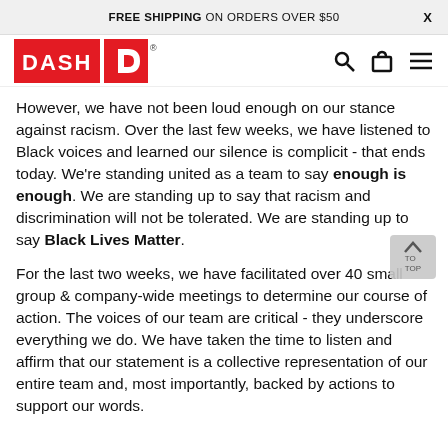FREE SHIPPING ON ORDERS OVER $50
[Figure (logo): DASH logo in red with stylized D icon]
However, we have not been loud enough on our stance against racism. Over the last few weeks, we have listened to Black voices and learned our silence is complicit - that ends today. We're standing united as a team to say enough is enough. We are standing up to say that racism and discrimination will not be tolerated. We are standing up to say Black Lives Matter.
For the last two weeks, we have facilitated over 40 small group & company-wide meetings to determine our course of action. The voices of our team are critical - they underscore everything we do. We have taken the time to listen and affirm that our statement is a collective representation of our entire team and, most importantly, backed by actions to support our words.